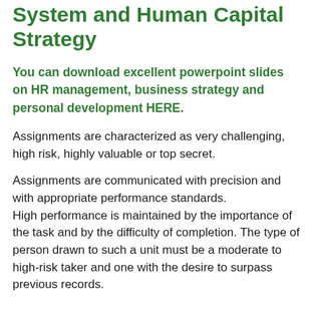System and Human Capital Strategy
You can download excellent powerpoint slides on HR management, business strategy and personal development HERE.
Assignments are characterized as very challenging, high risk, highly valuable or top secret.
Assignments are communicated with precision and with appropriate performance standards.
High performance is maintained by the importance of the task and by the difficulty of completion. The type of person drawn to such a unit must be a moderate to high-risk taker and one with the desire to surpass previous records.